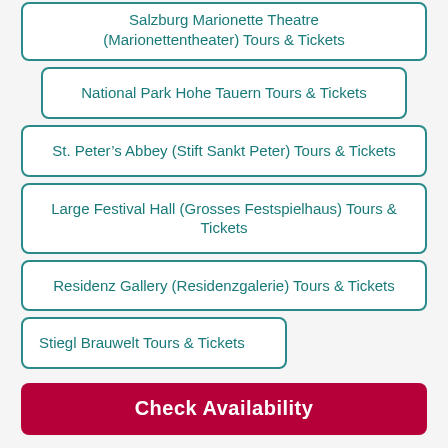Salzburg Marionette Theatre (Marionettentheater) Tours & Tickets
National Park Hohe Tauern Tours & Tickets
St. Peter's Abbey (Stift Sankt Peter) Tours & Tickets
Large Festival Hall (Grosses Festspielhaus) Tours & Tickets
Residenz Gallery (Residenzgalerie) Tours & Tickets
Stiegl Brauwelt Tours & Tickets
Check Availability